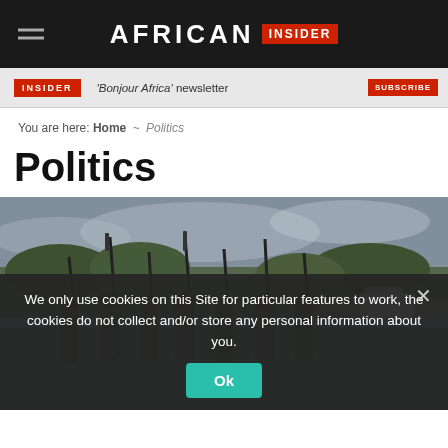AFRICAN INSIDER
[Figure (screenshot): African Insider website header with logo, hamburger menu, and newsletter ad banner reading 'Bonjour Africa' newsletter]
You are here: Home ~ Politics
Politics
[Figure (photo): Soldiers in camouflage uniforms holding rifles aloft, grouped together outdoors with overcast sky in background]
We only use cookies on this Site for particular features to work, the cookies do not collect and/or store any personal information about you.